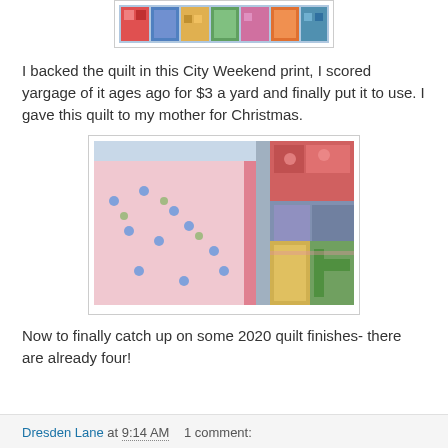[Figure (photo): Top portion of a colorful patchwork quilt with multiple fabric patterns and colors including red, blue, green, yellow, and various prints.]
I backed the quilt in this City Weekend print, I scored yargage of it ages ago for $3 a yard and finally put it to use. I gave this quilt to my mother for Christmas.
[Figure (photo): Close-up photo of a patchwork quilt showing a pink floral/berry print fabric in the foreground and colorful quilt blocks including red, blue, yellow, green, and gray patches in the background.]
Now to finally catch up on some 2020 quilt finishes- there are already four!
Dresden Lane at 9:14 AM   1 comment: